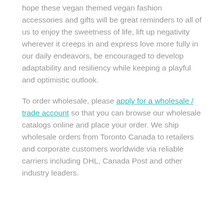hope these vegan themed vegan fashion accessories and gifts will be great reminders to all of us to enjoy the sweetness of life, lift up negativity wherever it creeps in and express love more fully in our daily endeavors, be encouraged to develop adaptability and resiliency while keeping a playful and optimistic outlook.
To order wholesale, please apply for a wholesale / trade account so that you can browse our wholesale catalogs online and place your order. We ship wholesale orders from Toronto Canada to retailers and corporate customers worldwide via reliable carriers including DHL, Canada Post and other industry leaders.